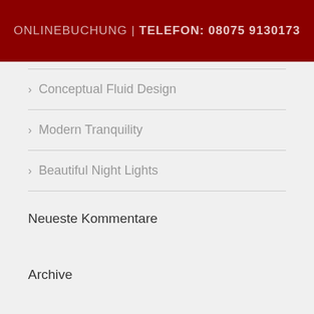ONLINEBUCHUNG | TELEFON: 08075 9130173
Conceptual Fluid Design
Modern Tranquility
Beautiful Night Lights
Neueste Kommentare
Archive